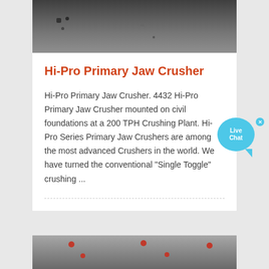[Figure (photo): Top partial image of industrial crusher machinery, dark tones]
Hi-Pro Primary Jaw Crusher
Hi-Pro Primary Jaw Crusher. 4432 Hi-Pro Primary Jaw Crusher mounted on civil foundations at a 200 TPH Crushing Plant. Hi-Pro Series Primary Jaw Crushers are among the most advanced Crushers in the world. We have turned the conventional "Single Toggle" crushing ...
[Figure (photo): Bottom partial image of industrial crusher machinery]